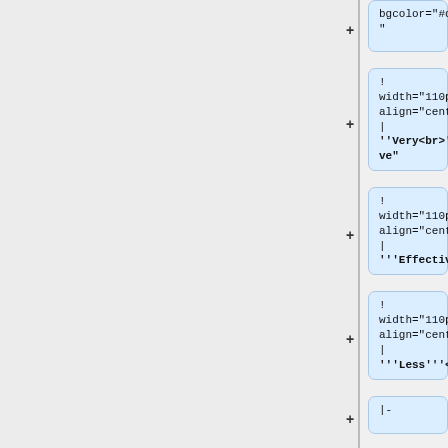bgcolor="#dddddd"
! width="110px" align="center" | ""Very<br>""Effective"
! width="110px" align="center" | """Effective"""
! width="110px" align="center" | """Less"""<br>"""Effective"""
|-
| <!--Very Effective--> [[Forgotten]]<br>[[Physical]]<br>[[Shadow]]<br>[[Tactical]]<br>[[Arcane]]<br>[[Luck]]<br>